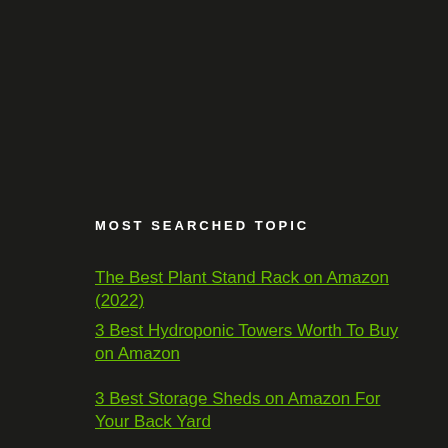MOST SEARCHED TOPIC
The Best Plant Stand Rack on Amazon (2022)
3 Best Hydroponic Towers Worth To Buy on Amazon
3 Best Storage Sheds on Amazon For Your Back Yard